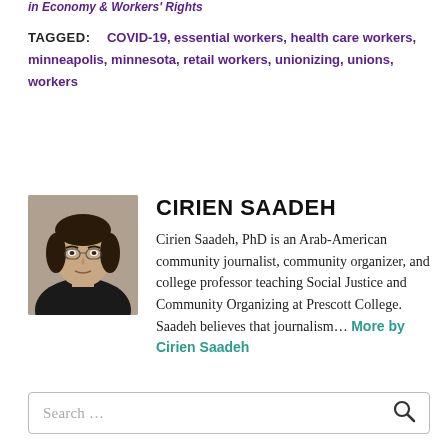in Economy & Workers' Rights
TAGGED:  COVID-19, essential workers, health care workers, minneapolis, minnesota, retail workers, unionizing, unions, workers
CIRIEN SAADEH
[Figure (photo): Headshot photo of Cirien Saadeh, a woman with dark hair wearing a black top]
Cirien Saadeh, PhD is an Arab-American community journalist, community organizer, and college professor teaching Social Justice and Community Organizing at Prescott College. Saadeh believes that journalism… More by Cirien Saadeh